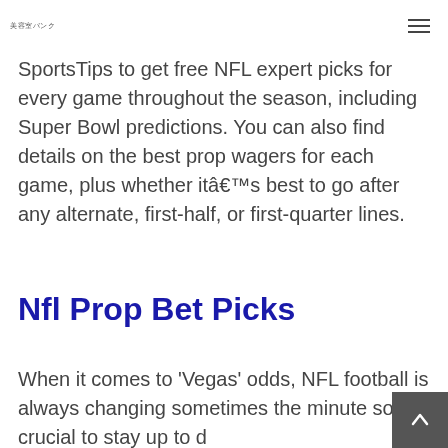美容室バンク
SportsTips to get free NFL expert picks for every game throughout the season, including Super Bowl predictions. You can also find details on the best prop wagers for each game, plus whether itâ€™s best to go after any alternate, first-half, or first-quarter lines.
Nfl Prop Bet Picks
When it comes to 'Vegas' odds, NFL football is always changing sometimes the minute so it's crucial to stay up to d